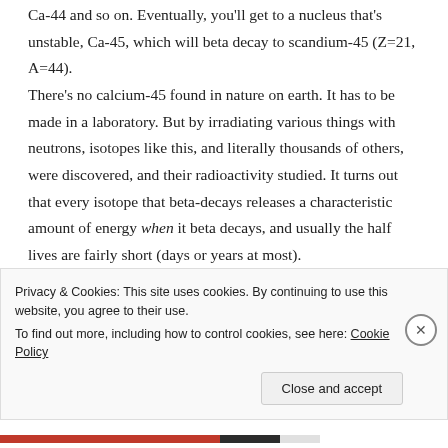Ca-44 and so on. Eventually, you'll get to a nucleus that's unstable, Ca-45, which will beta decay to scandium-45 (Z=21, A=44).
There's no calcium-45 found in nature on earth. It has to be made in a laboratory. But by irradiating various things with neutrons, isotopes like this, and literally thousands of others, were discovered, and their radioactivity studied. It turns out that every isotope that beta-decays releases a characteristic amount of energy when it beta decays, and usually the half lives are fairly short (days or years at most).
Privacy & Cookies: This site uses cookies. By continuing to use this website, you agree to their use. To find out more, including how to control cookies, see here: Cookie Policy
Close and accept